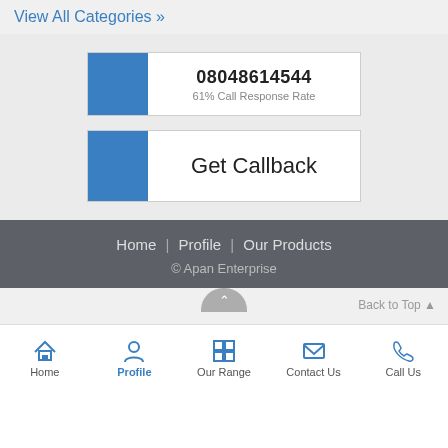View All Categories »
08048614544
61% Call Response Rate
Get Callback
Home | Profile | Our Products
© Apan Enterprise
Back to Top ▲
Home   Profile   Our Range   Contact Us   Call Us